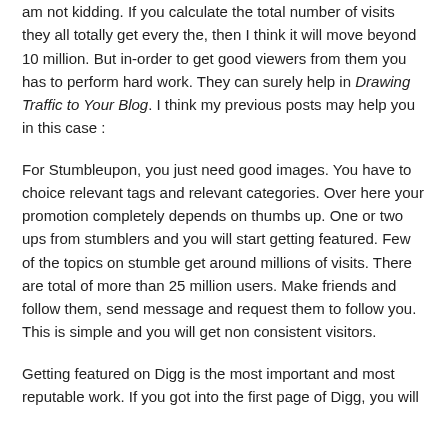am not kidding. If you calculate the total number of visits they all totally get every the, then I think it will move beyond 10 million. But in-order to get good viewers from them you has to perform hard work. They can surely help in Drawing Traffic to Your Blog. I think my previous posts may help you in this case :
For Stumbleupon, you just need good images. You have to choice relevant tags and relevant categories. Over here your promotion completely depends on thumbs up. One or two ups from stumblers and you will start getting featured. Few of the topics on stumble get around millions of visits. There are total of more than 25 million users. Make friends and follow them, send message and request them to follow you. This is simple and you will get non consistent visitors.
Getting featured on Digg is the most important and most reputable work. If you got into the first page of Digg, you will